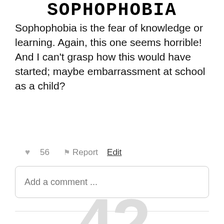SOPHOPHOBIA
Sophophobia is the fear of knowledge or learning. Again, this one seems horrible! And I can't grasp how this would have started; maybe embarrassment at school as a child?
♥ 56   ⚑ Report   Edit
Add a comment ...
42